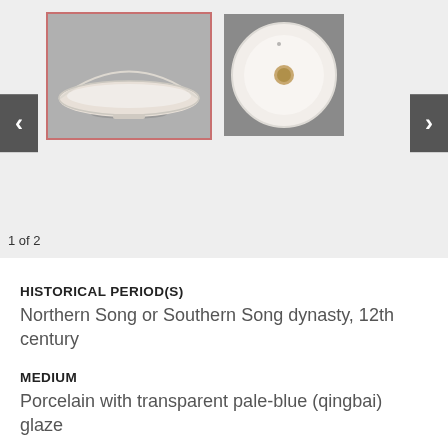[Figure (photo): Two thumbnail images of a white porcelain bowl: first image shows a side view of a shallow white bowl on a gray background (selected, highlighted with pink border); second image shows a top-down view of the same bowl showing a small brown center mark on a gray background. Navigation arrows (< and >) are visible on left and right sides.]
1 of 2
HISTORICAL PERIOD(S)
Northern Song or Southern Song dynasty, 12th century
MEDIUM
Porcelain with transparent pale-blue (qingbai) glaze
STYLE